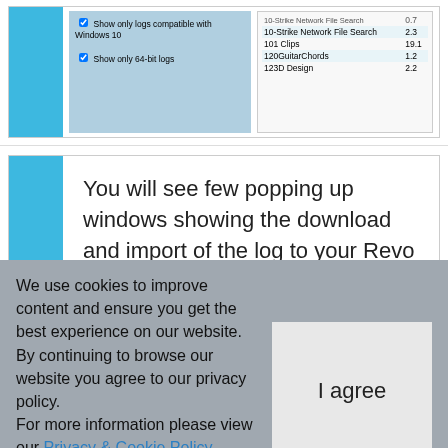[Figure (screenshot): Partial screenshot of step 4 showing a Windows filter panel with checkboxes ('Show only logs compatible with Windows 10', 'Show only 64-bit logs') on the left and a list of applications (10-Strike Network File Search 2.3, 101 Clips 19.1, 120GuitarChords 1.2, 123D Design 2.2) on the right.]
5  You will see few popping up windows showing the download and import of the log to your Revo Uninstaller Pro and then the main Uninstall dialog that shows the progress of the uninstall of MEDIA Revolution.
We use cookies to improve content and ensure you get the best experience on our website. By continuing to browse our website you agree to our privacy policy. For more information please view our Privacy & Cookie Policy